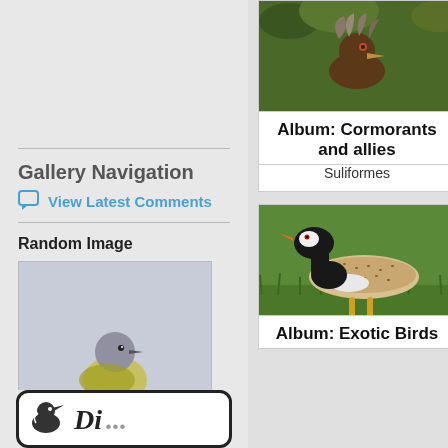Gallery Navigation
View Latest Comments
Random Image
[Figure (photo): A small grey and yellow-green bird (Plumbeous-crowned Tyrannulet) perched on a snow-dusted branch]
Plumbeous-crowned Tyrannulet
[Figure (logo): Bird photography site logo at bottom of sidebar]
[Figure (photo): Photo of cormorant-type bird in foliage at top of right column]
Album: Cormorants and allies
Suliformes
[Figure (photo): Photo of a large black and white bird with orange beak and yellow legs standing on grass]
Album: Exotic Birds